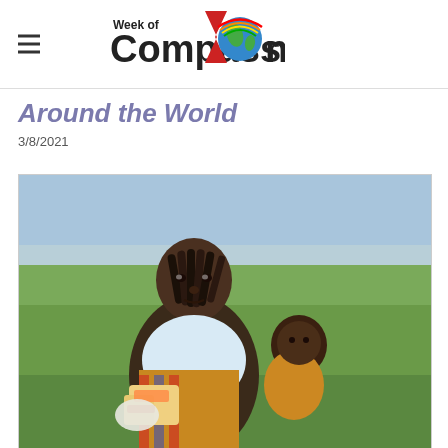Week of Compassion (logo)
Around the World
3/8/2021
[Figure (photo): A young African woman with braided hair carrying a baby on her back, holding food packages, standing in a green field with a light blue sky background.]